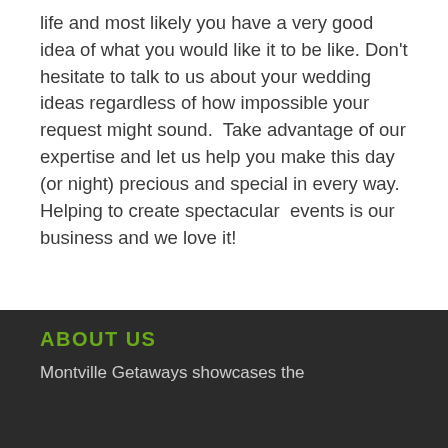life and most likely you have a very good idea of what you would like it to be like. Don't hesitate to talk to us about your wedding ideas regardless of how impossible your request might sound.  Take advantage of our expertise and let us help you make this day (or night) precious and special in every way. Helping to create spectacular events is our business and we love it!
ABOUT US
Montville Getaways showcases the